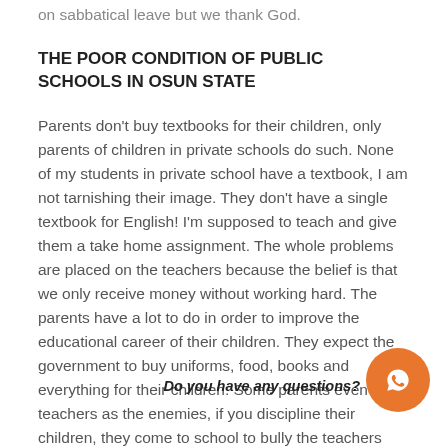on sabbatical leave but we thank God.
THE POOR CONDITION OF PUBLIC SCHOOLS IN OSUN STATE
Parents don't buy textbooks for their children, only parents of children in private schools do such. None of my students in private school have a textbook, I am not tarnishing their image. They don't have a single textbook for English! I'm supposed to teach and give them a take home assignment. The whole problems are placed on the teachers because the belief is that we only receive money without working hard. The parents have a lot to do in order to improve the educational career of their children. They expect the government to buy uniforms, food, books and everything for their children. Some parents even see teachers as the enemies, if you discipline their children, they come to school to bully the teachers and threaten them with
Do you have any questions?